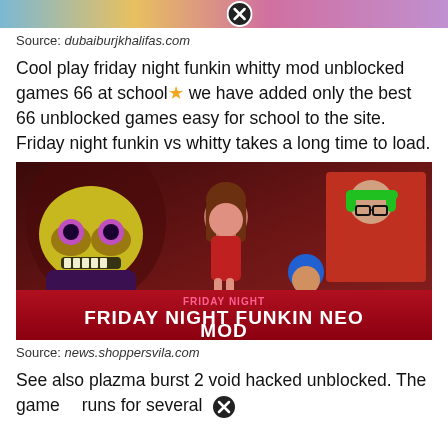[Figure (screenshot): Top strip showing partial game screenshot with close/X button overlay]
Source: dubaiburjkhalifas.com
Cool play friday night funkin whitty mod unblocked games 66 at school⭐ we have added only the best 66 unblocked games easy for school to the site. Friday night funkin vs whitty takes a long time to load.
[Figure (screenshot): Friday Night Funkin Neo Mod promotional image showing cartoon characters including a monster, girl, blue-haired boy, and a real person with green headphones]
Source: news.shoppersvila.com
See also plazma burst 2 void hacked unblocked. The game runs for several